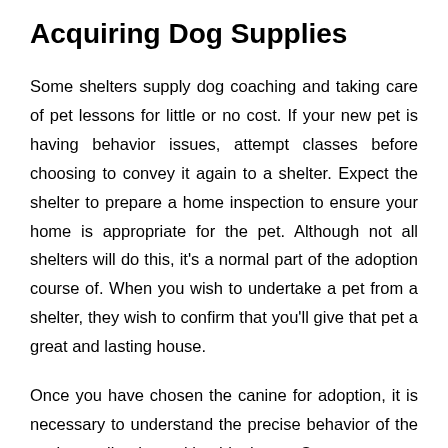Acquiring Dog Supplies
Some shelters supply dog coaching and taking care of pet lessons for little or no cost. If your new pet is having behavior issues, attempt classes before choosing to convey it again to a shelter. Expect the shelter to prepare a home inspection to ensure your home is appropriate for the pet. Although not all shelters will do this, it's a normal part of the adoption course of. When you wish to undertake a pet from a shelter, they wish to confirm that you'll give that pet a great and lasting house.
Once you have chosen the canine for adoption, it is necessary to understand the precise behavior of the canine earlier than taking him home. Some are